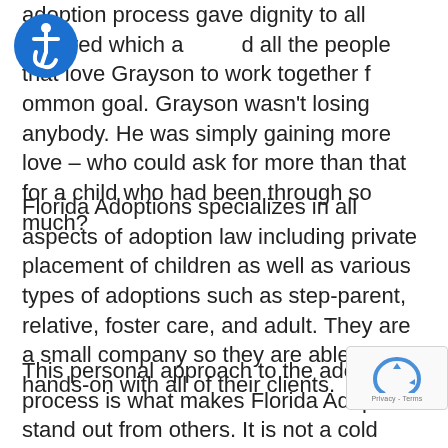adoption process gave dignity to all involved which allowed all the people that love Grayson to work together for a common goal. Grayson wasn't losing anybody. He was simply gaining more love – who could ask for more than that for a child who had been through so much?
Florida Adoptions specializes in all aspects of adoption law including private placement of children as well as various types of adoptions such as step-parent, relative, foster care, and adult. They are a small company so they are able to be hands-on with all of their clients.
This personal approach to the adoption process is what makes Florida Adoptions stand out from others. It is not a cold approach that treats children and parents like a statistic. Stephanie is more than just a lawyer. She is a wife and mother who understands what family is all about. She knows the strength it takes to make an adoption plan for your child and she also understands how it feels to yearn for a child in your family to love.
[Figure (logo): Blue circular accessibility icon with wheelchair user symbol]
[Figure (logo): Google reCAPTCHA badge with circular arrow logo and Privacy - Terms text]